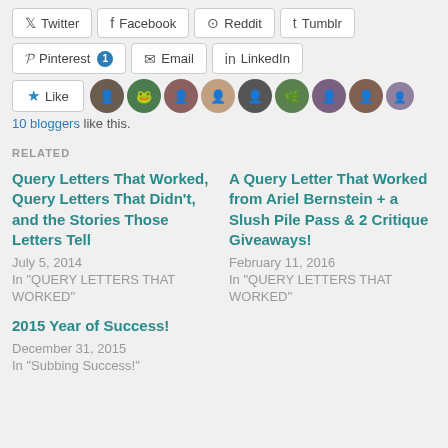[Figure (screenshot): Social share buttons: Twitter, Facebook, Reddit, Tumblr, Pinterest (with badge 1), Email, LinkedIn]
[Figure (screenshot): Like button with star icon and 10 blogger avatar thumbnails]
10 bloggers like this.
RELATED
Query Letters That Worked, Query Letters That Didn't, and the Stories Those Letters Tell
July 5, 2014
In "QUERY LETTERS THAT WORKED"
A Query Letter That Worked from Ariel Bernstein + a Slush Pile Pass & 2 Critique Giveaways!
February 11, 2016
In "QUERY LETTERS THAT WORKED"
2015 Year of Success!
December 31, 2015
In "Subbing Success!"